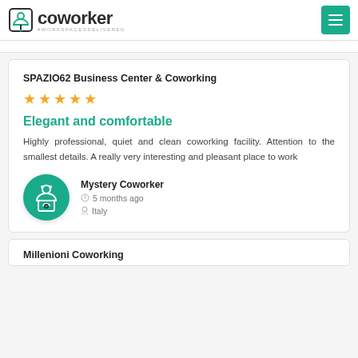coworker #WORKSPACESDELIVERED
SPAZIO62 Business Center & Coworking
[Figure (other): Five orange star rating icons]
Elegant and comfortable
Highly professional, quiet and clean coworking facility. Attention to the smallest details. A really very interesting and pleasant place to work
[Figure (logo): Mystery Coworker avatar - green circle with coworker logo icon]
Mystery Coworker
5 months ago
Italy
Millenioni Coworking